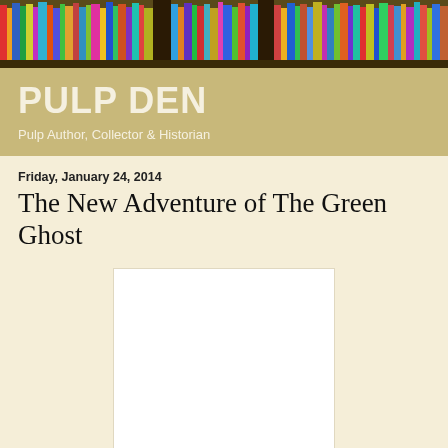[Figure (photo): Colorful bookshelf photo banner at the top of the page]
PULP DEN
Pulp Author, Collector & Historian
Friday, January 24, 2014
The New Adventure of The Green Ghost
[Figure (photo): White rectangular image placeholder, appears to be a book cover image area]